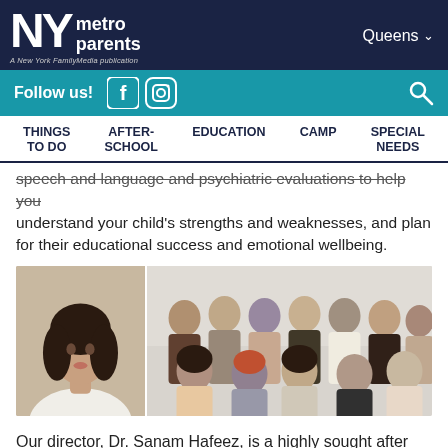NY metro parents — A New York FamilyMedia publication | Queens
Follow us! [Facebook] [Instagram] [Search]
THINGS TO DO | AFTER-SCHOOL | EDUCATION | CAMP | SPECIAL NEEDS
speech and language and psychiatric evaluations to help you understand your child's strengths and weaknesses, and plan for their educational success and emotional wellbeing.
[Figure (photo): Left: headshot of a young woman with dark hair wearing a white blazer. Right: group photo of approximately 13 women in an office/room setting, some seated and some standing.]
Our director, Dr. Sanam Hafeez, is a highly sought after